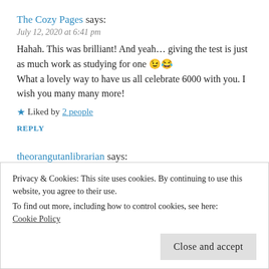The Cozy Pages says:
July 12, 2020 at 6:41 pm
Hahah. This was brilliant! And yeah... giving the test is just as much work as studying for one 😉😂
What a lovely way to have us all celebrate 6000 with you. I wish you many many more!
★ Liked by 2 people
REPLY
theorangutanlibrarian says:
July 12, 2020 at 10:12 pm
Privacy & Cookies: This site uses cookies. By continuing to use this website, you agree to their use.
To find out more, including how to control cookies, see here:
Cookie Policy
Close and accept